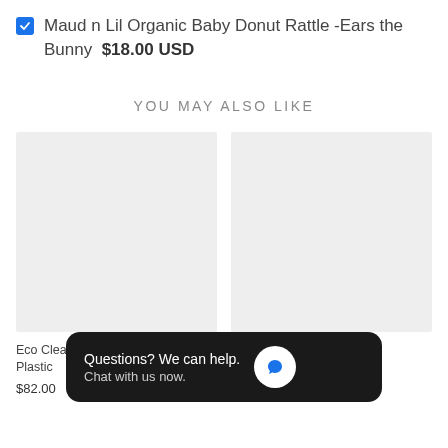Maud n Lil Organic Baby Donut Rattle -Ears the Bunny  $18.00 USD
YOU MAY ALSO LIKE
[Figure (other): Placeholder product image for Eco Cleaning Box - the Earth - Plastic (left)]
[Figure (other): Placeholder product image for Box - Us and the (right)]
Eco Cleaning Box - the Earth - Plastic
$82.00
Box - Us and the
$60.00
Questions? We can help. Chat with us now.